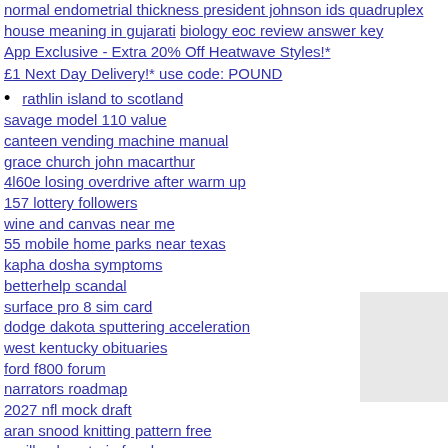normal endometrial thickness president johnson ids quadruplex
house meaning in gujarati biology eoc review answer key
App Exclusive - Extra 20% Off Heatwave Styles!*
£1 Next Day Delivery!* use code: POUND
rathlin island to scotland
savage model 110 value
canteen vending machine manual
grace church john macarthur
4l60e losing overdrive after warm up
157 lottery followers
wine and canvas near me
55 mobile home parks near texas
kapha dosha symptoms
betterhelp scandal
surface pro 8 sim card
dodge dakota sputtering acceleration
west kentucky obituaries
ford f800 forum
narrators roadmap
2027 nfl mock draft
aran snood knitting pattern free
gorilla glue strain for sleep
atomi wifi range extender
why is family medicine unpopular reddit
interdisciplinary team in healthcare examples
how to get protection order from court